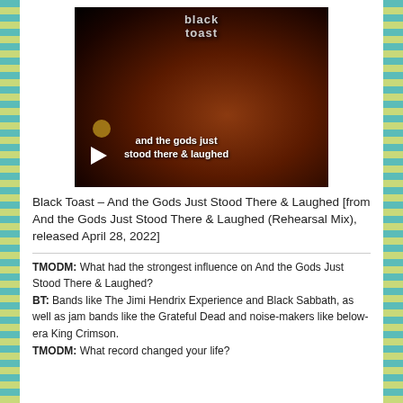[Figure (screenshot): Video thumbnail for Black Toast – And the Gods Just Stood There & Laughed. Dark cosmic background with nebula clouds and a crescent moon. Text overlays read 'black toast' at top and 'and the gods just stood there & laughed' at bottom. A white play button triangle is visible at lower left.]
Black Toast – And the Gods Just Stood There & Laughed [from And the Gods Just Stood There & Laughed (Rehearsal Mix), released April 28, 2022]
TMODM: What had the strongest influence on And the Gods Just Stood There & Laughed?
BT: Bands like The Jimi Hendrix Experience and Black Sabbath, as well as jam bands like the Grateful Dead and noise-makers like below-era King Crimson.
TMODM: What record changed your life?